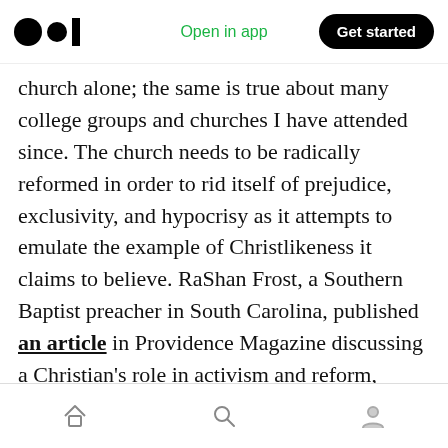Open in app | Get started
church alone; the same is true about many college groups and churches I have attended since. The church needs to be radically reformed in order to rid itself of prejudice, exclusivity, and hypocrisy as it attempts to emulate the example of Christlikeness it claims to believe. RaShan Frost, a Southern Baptist preacher in South Carolina, published an article in Providence Magazine discussing a Christian’s role in activism and reform, reminding us of the story of the Good Samaritan.
Jesus said: “A man was going down from Jerusalem
Home | Search | Profile